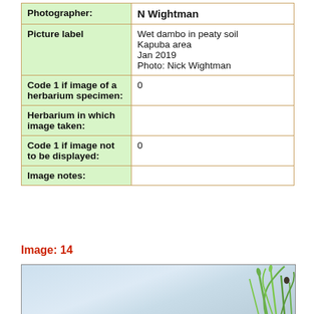| Field | Value |
| --- | --- |
| Photographer: | N Wightman |
| Picture label | Wet dambo in peaty soil
Kapuba area
Jan 2019
Photo: Nick Wightman |
| Code 1 if image of a herbarium specimen: | 0 |
| Herbarium in which image taken: |  |
| Code 1 if image not to be displayed: | 0 |
| Image notes: |  |
Image: 14
[Figure (photo): Photograph of plant stems against a light blue sky background, showing green grass-like stems, partially cropped at bottom of page.]